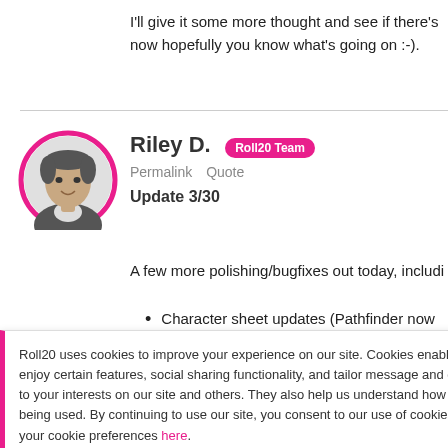I'll give it some more thought and see if there's now hopefully you know what's going on :-).
[Figure (photo): Circular avatar photo of Riley D. with a pink/magenta border ring]
Riley D. Roll20 Team
Permalink  Quote
Update 3/30
A few more polishing/bugfixes out today, includi
Character sheet updates (Pathfinder now
Roll20 uses cookies to improve your experience on our site. Cookies enable you to enjoy certain features, social sharing functionality, and tailor message and display ads to your interests on our site and others. They also help us understand how our site is being used. By continuing to use our site, you consent to our use of cookies. Update your cookie preferences here.
were out of order, causing the entire chat log was cleared.